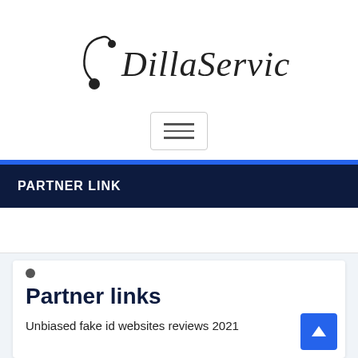[Figure (logo): DillaService logo with musical note and stylized cursive text]
[Figure (other): Hamburger menu button with three horizontal lines]
PARTNER LINK
Partner links
Unbiased fake id websites reviews 2021